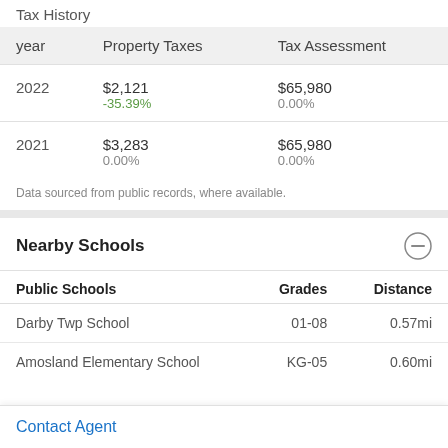Tax History
| year | Property Taxes | Tax Assessment |
| --- | --- | --- |
| 2022 | $2,121
-35.39% | $65,980
0.00% |
| 2021 | $3,283
0.00% | $65,980
0.00% |
Data sourced from public records, where available.
Nearby Schools
| Public Schools | Grades | Distance |
| --- | --- | --- |
| Darby Twp School | 01-08 | 0.57mi |
| Amosland Elementary School | KG-05 | 0.60mi |
Contact Agent